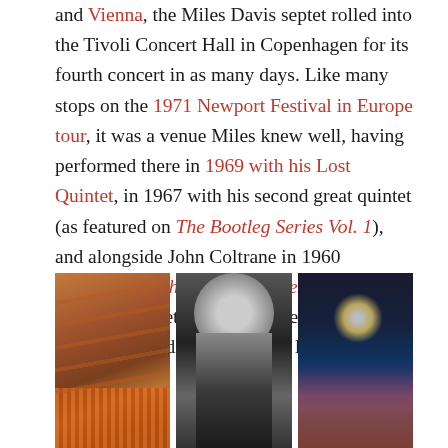and Vienna, the Miles Davis septet rolled into the Tivoli Concert Hall in Copenhagen for its fourth concert in as many days. Like many stops on the 1971 Newport Festival in Europe tour, it was a venue Miles knew well, having performed there in 1969 with his Lost Quintet, in 1967 with his second great quintet (as featured on The Bootleg Series Vol. 1), and alongside John Coltrane in 1960 (included on The Bootleg Series, Vol. 6). Miles would return a final time in 1973 with, of course, a radically different lineup and agenda.
[Figure (photo): Three side-by-side concert photos: (left) interior of Tivoli Concert Hall with warm orange/brown architectural details; (center) black and white photo of Miles Davis playing trumpet with afro hairstyle; (right) dark concert photo of musician performing with backlight halo effect.]